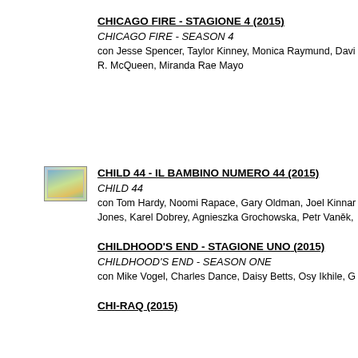CHICAGO FIRE - STAGIONE 4 (2015)
CHICAGO FIRE - SEASON 4
con Jesse Spencer, Taylor Kinney, Monica Raymund, Davi R. McQueen, Miranda Rae Mayo
[Figure (photo): Small thumbnail image for Child 44]
CHILD 44 - IL BAMBINO NUMERO 44 (2015)
CHILD 44
con Tom Hardy, Noomi Rapace, Gary Oldman, Joel Kinnar Jones, Karel Dobrey, Agnieszka Grochowska, Petr Vaněk,
CHILDHOOD'S END - STAGIONE UNO (2015)
CHILDHOOD'S END - SEASON ONE
con Mike Vogel, Charles Dance, Daisy Betts, Osy Ikhile, G
CHI-RAQ (2015)
CHI-RAQ
con Teyonah Parris, Samuel L. Jackson, Jennifer Hudson,
CHRISTMAS INCORPORATED (2015)
CHRISTMAS INCORPORATED
con Shenae Grimes-Beech, Steve Lund, Ron Lea, Hannah
CHRISTMAS SLAY (2015)
CHRISTMAS SLAY
con Dani Thompson, Laura Ellen Wilson, Frank Jakeman,